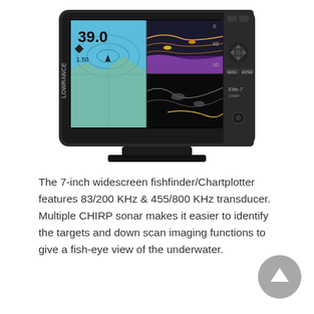[Figure (photo): Lowrance Elite-7 CHIRP fishfinder/chartplotter device showing a 7-inch widescreen display with GPS map and sonar readings including '39.0' depth reading, mounted on a black stand.]
The 7-inch widescreen fishfinder/Chartplotter features 83/200 KHz & 455/800 KHz transducer. Multiple CHIRP sonar makes it easier to identify the targets and down scan imaging functions to give a fish-eye view of the underwater.